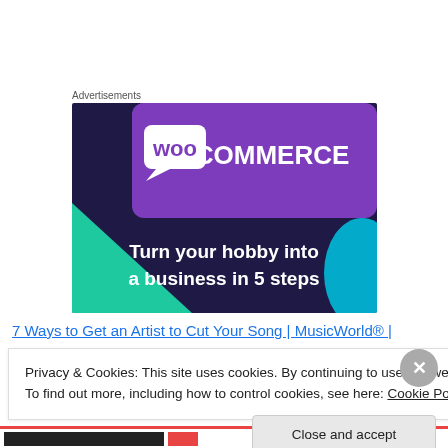Advertisements
[Figure (illustration): WooCommerce advertisement banner with purple/dark blue background, WooCommerce logo (woo in speech bubble + COMMERCE text), teal/green triangle accent, cyan blue shape, text 'Turn your hobby into a business in 5 steps']
7 Ways to Get an Artist to Cut Your Song | MusicWorld® |
Privacy & Cookies: This site uses cookies. By continuing to use this website, you agree to their use.
To find out more, including how to control cookies, see here: Cookie Policy
Close and accept